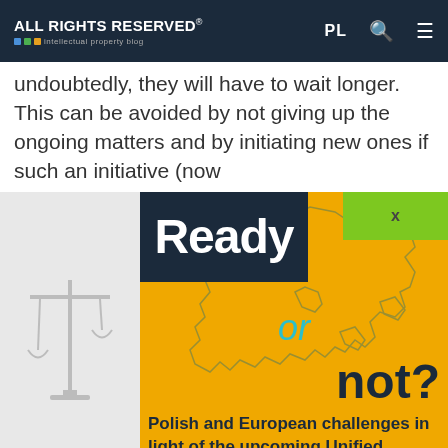ALL RIGHTS RESERVED® intellectual property blog
undoubtedly, they will have to wait longer. This can be avoided by not giving up the ongoing matters and by initiating new ones if such an initiative (now...
[Figure (illustration): Book cover or promotional image: 'Ready or not? Polish and European challenges in light of the upcoming Unified Patent Court'. Orange background with European map outline, dark navy 'Ready' box, cyan 'or' text, dark 'not?' text, and subtitle text at bottom. Green X close button in top right. Left panel with scales of justice icon.]
Ready or not? Polish and European challenges in light of the upcoming Unified Patent Court